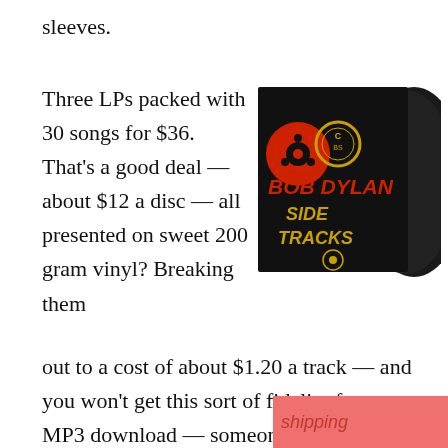sleeves.
Three LPs packed with 30 songs for $36. That's a good deal — about $12 a disc — all presented on sweet 200 gram vinyl? Breaking them out to a cost of about $1.20 a track — and you won't get this sort of fidelity from any MP3 download — someone on Dylan's marketing team worked out a significant value proposition with the release of this set! Even if its a bit more ordered online with shipping charges and such, its still a very fair deal.
[Figure (photo): Bob Dylan Side Tracks triple LP vinyl album cover with record sleeves, black cover with red and gold text]